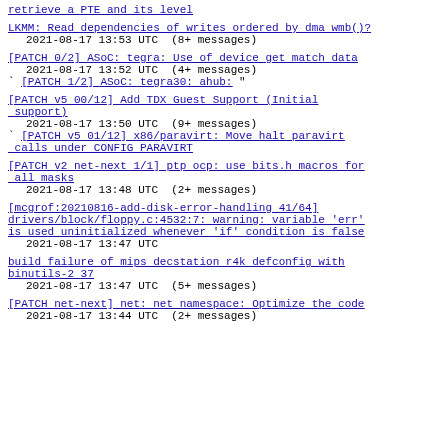retrieve a PTE and its level
LKMM: Read dependencies of writes ordered by dma wmb()?
2021-08-17 13:53 UTC  (8+ messages)
[PATCH 0/2] ASoC: tegra: Use of device get match data
2021-08-17 13:52 UTC  (4+ messages)
` [PATCH 1/2] ASoC: tegra30: ahub: "
[PATCH v5 00/12] Add TDX Guest Support (Initial support)
2021-08-17 13:50 UTC  (9+ messages)
` [PATCH v5 01/12] x86/paravirt: Move halt paravirt calls under CONFIG PARAVIRT
[PATCH v2 net-next 1/1] ptp ocp: use bits.h macros for all masks
2021-08-17 13:48 UTC  (2+ messages)
[mcgrof:20210816-add-disk-error-handling 41/64] drivers/block/floppy.c:4532:7: warning: variable 'err' is used uninitialized whenever 'if' condition is false
2021-08-17 13:47 UTC
build failure of mips decstation r4k defconfig with binutils-2 37
2021-08-17 13:47 UTC  (5+ messages)
[PATCH net-next] net: net namespace: Optimize the code
2021-08-17 13:44 UTC  (2+ messages)